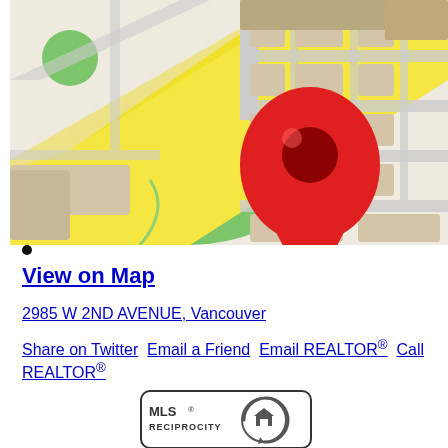[Figure (map): Street map showing location pin (red Google Maps style marker) at an intersection, with yellow roads, beige city blocks, and green park areas. Isometric-style map view.]
•
View on Map
2985 W 2ND AVENUE, Vancouver
Share on Twitter   Email a Friend   Email REALTOR®   Call REALTOR®
[Figure (logo): MLS Reciprocity logo — circular arrow with house icon, text MLS® RECIPROCITY]